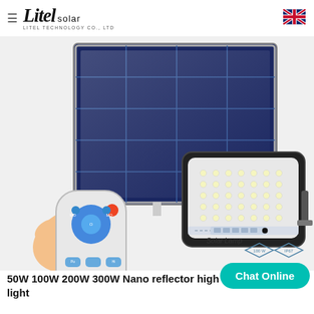Litel solar - LITEL TECHNOLOGY CO., LTD
[Figure (photo): Product photo showing a solar panel, an LED solar flood light (Solar Lamp with IP67 rating), and a hand holding a remote control. The products are displayed against a light background.]
50W 100W 200W 300W Nano reflector high output solar led flood light